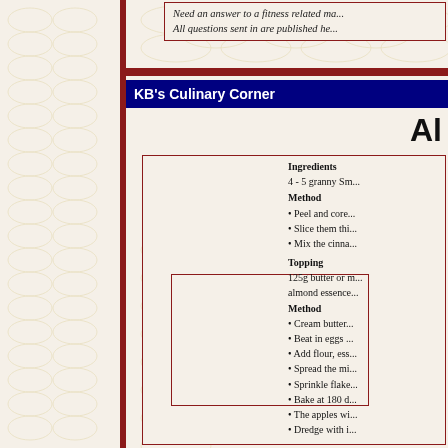Need an answer to a fitness related ma... All questions sent in are published he...
KB's Culinary Corner
Al
Ingredients
4 - 5 granny Sm...
Method
• Peel and core...
• Slice them thi...
• Mix the cinna...
Topping
125g butter or m... almond essence...
Method
• Cream butter...
• Beat in eggs...
• Add flour, ess...
• Spread the mi...
• Sprinkle flake...
• Bake at 180 d...
• The apples wi...
• Dredge with i...
[Figure (photo): Photo placeholder box with dark red border]